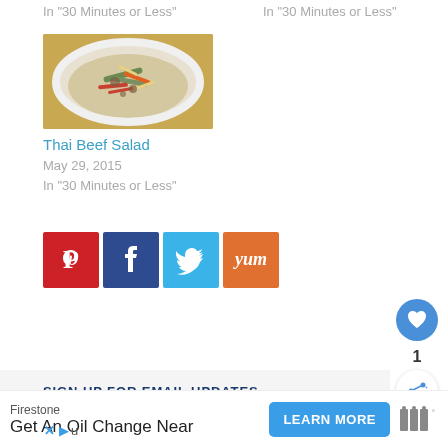In "30 Minutes or Less"
In "30 Minutes or Less"
[Figure (photo): Bowl of Thai beef salad with vegetables, noodles, carrots and peppers]
Thai Beef Salad
May 29, 2015
In "30 Minutes or Less"
[Figure (infographic): Social media sharing icons: Pinterest, Facebook, Twitter, Yummly]
1
SIGN UP FOR EMAIL UPDATES
Firestone
Get An Oil Change Near
LEARN MORE